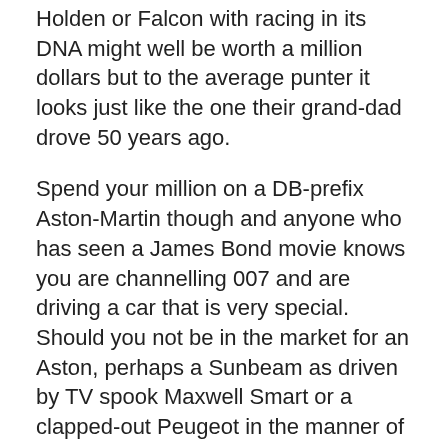Holden or Falcon with racing in its DNA might well be worth a million dollars but to the average punter it looks just like the one their grand-dad drove 50 years ago.
Spend your million on a DB-prefix Aston-Martin though and anyone who has seen a James Bond movie knows you are channelling 007 and are driving a car that is very special. Should you not be in the market for an Aston, perhaps a Sunbeam as driven by TV spook Maxwell Smart or a clapped-out Peugeot in the manner of Detective Columbo might suit the budget and still turn heads.
There continues to be a whisper in the winds that environmental pressures will again threaten the survival of older cars. Not the genuine, once-a-month classics (hopefully anyway) but 10-30 year-old models of all kinds that currently are banned from city centres in parts of Europe.
Those cars, if they manage to remain in regular use, will likely be the targets of further restrictions on the most...